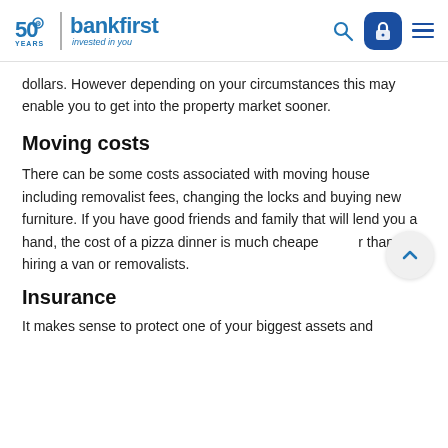bankfirst | invested in you
dollars. However depending on your circumstances this may enable you to get into the property market sooner.
Moving costs
There can be some costs associated with moving house including removalist fees, changing the locks and buying new furniture. If you have good friends and family that will lend you a hand, the cost of a pizza dinner is much cheaper than hiring a van or removalists.
Insurance
It makes sense to protect one of your biggest assets and